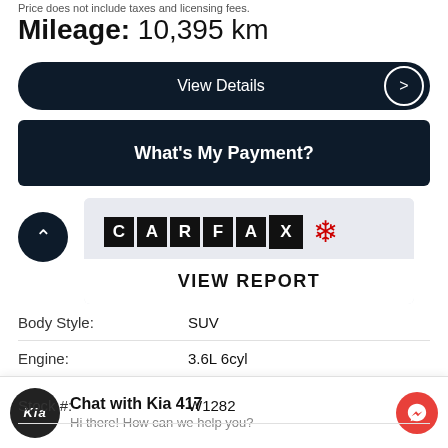Price does not include taxes and licensing fees.
Mileage: 10,395 km
View Details
What's My Payment?
[Figure (logo): CARFAX Canada logo with maple leaf, and VIEW REPORT button below]
| Body Style: | SUV |
| Engine: | 3.6L 6cyl |
| Exterior Colour: | White |
| Stock #: | W1282 |
Chat with Kia 417
Hi there! How can we help you?